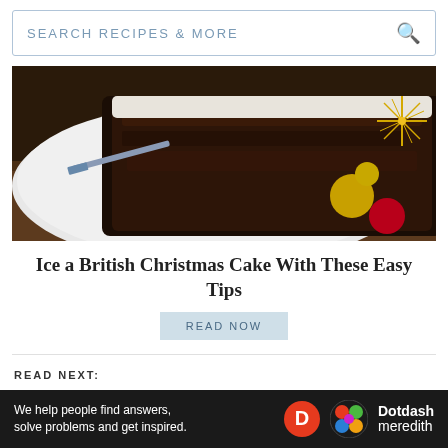SEARCH RECIPES & MORE
[Figure (photo): A dark Christmas fruitcake on a decorative plate with Christmas ornaments in the background]
Ice a British Christmas Cake With These Easy Tips
READ NOW
READ NEXT: Up Your Fruitcake Game With These Recipes and Baking Tips
Recipe Tags:
We help people find answers, solve problems and get inspired. Dotdash meredith